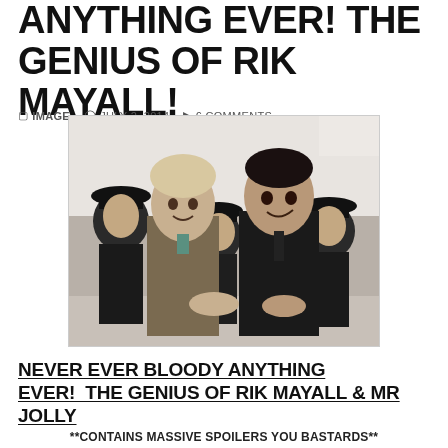ANYTHING EVER! THE GENIUS OF RIK MAYALL!
IMAGE   JULY 2, 2014   6 COMMENTS
[Figure (photo): Black and white photo of two men in dark jackets with police officers in uniform caps behind them, standing around a table.]
NEVER EVER BLOODY ANYTHING EVER!  THE GENIUS OF RIK MAYALL & MR JOLLY
**CONTAINS MASSIVE SPOILERS YOU BASTARDS**